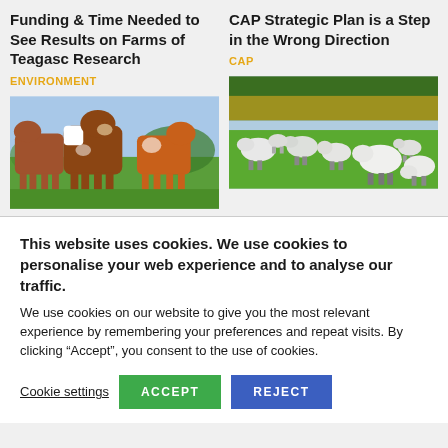Funding & Time Needed to See Results on Farms of Teagasc Research
ENVIRONMENT
[Figure (photo): Photo of several Hereford cattle standing on green grass in a field]
CAP Strategic Plan is a Step in the Wrong Direction
CAP
[Figure (photo): Photo of a flock of sheep grazing on green grass with yellow-flowered hedgerows in background]
This website uses cookies. We use cookies to personalise your web experience and to analyse our traffic.
We use cookies on our website to give you the most relevant experience by remembering your preferences and repeat visits. By clicking "Accept", you consent to the use of cookies.
Cookie settings
ACCEPT
REJECT